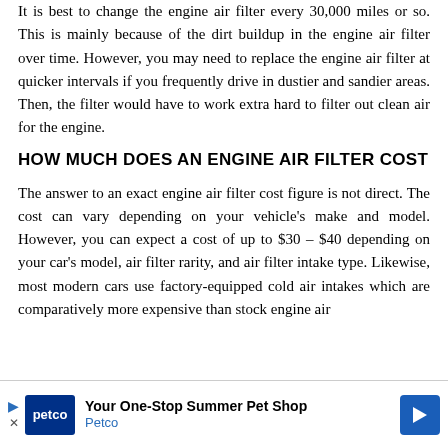It is best to change the engine air filter every 30,000 miles or so. This is mainly because of the dirt buildup in the engine air filter over time. However, you may need to replace the engine air filter at quicker intervals if you frequently drive in dustier and sandier areas. Then, the filter would have to work extra hard to filter out clean air for the engine.
HOW MUCH DOES AN ENGINE AIR FILTER COST
The answer to an exact engine air filter cost figure is not direct. The cost can vary depending on your vehicle's make and model. However, you can expect a cost of up to $30 – $40 depending on your car's model, air filter rarity, and air filter intake type. Likewise, most modern cars use factory-equipped cold air intakes which are comparatively more expensive than stock engine air
[Figure (other): Petco advertisement banner: 'Your One-Stop Summer Pet Shop' with Petco logo and blue arrow button]